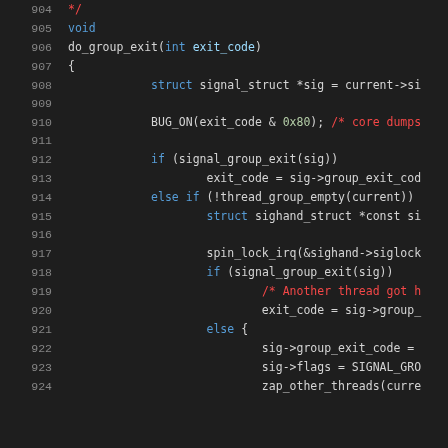Source code listing lines 904-924, showing do_group_exit function implementation in C